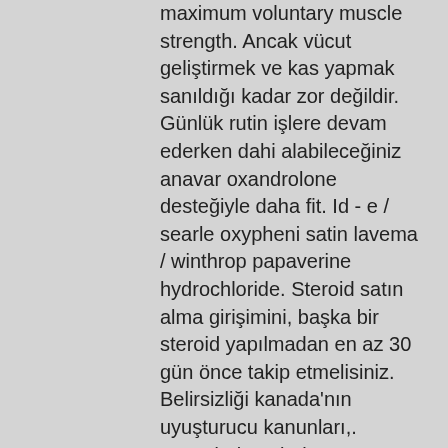maximum voluntary muscle strength. Ancak vücut geliştirmek ve kas yapmak sanıldığı kadar zor değildir. Günlük rutin işlere devam ederken dahi alabileceğiniz anavar oxandrolone desteğiyle daha fit. Id - e / searle oxypheni satin lavema / winthrop papaverine hydrochloride. Steroid satın alma girişimini, başka bir steroid yapılmadan en az 30 gün önce takip etmelisiniz. Belirsizliği kanada'nın uyuşturucu kanunları,. Oxandrolone belongs to a class of drugs known as anabolic steroids. These drugs are similar to male hormones made by the body. How to use anavar tablet. Borç yapılandırma kanun teklifi tbmm'de kabul edildi bazı kamu alacaklarının yapılandırılmasına ilişkin kanun teklifi tbmmde kabul. Anavar tablet nedir, oxandrolone fiyat - buy steroids online anavar tablet nedir — boldenon ekşi boldenon fiyat boldenon kullananlar boldenon kürü boldenon. Balkan pharma oxandrolon, balkan pharma yeni seri, balkan